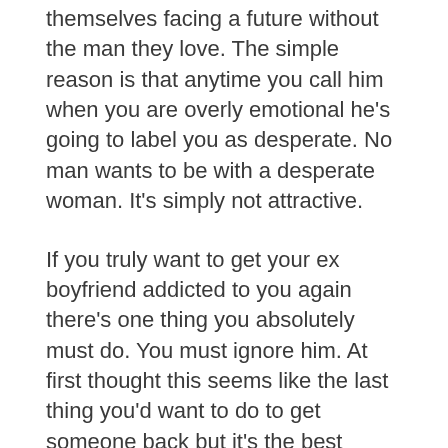themselves facing a future without the man they love. The simple reason is that anytime you call him when you are overly emotional he's going to label you as desperate. No man wants to be with a desperate woman. It's simply not attractive.
If you truly want to get your ex boyfriend addicted to you again there's one thing you absolutely must do. You must ignore him. At first thought this seems like the last thing you'd want to do to get someone back but it's the best approach. Men are naturally drawn to women that are less interested in them. Consider when you and your ex first started dating. Chances are that you played a little hard to get. You weren't always available every time he wanted to see you and you didn't answer every one of his calls. After the break up if you make it clear to him that you are waiting in the wings for him to come back to